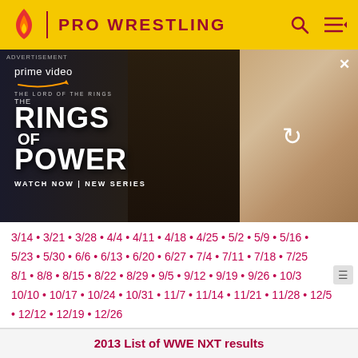PRO WRESTLING
[Figure (photo): Amazon Prime Video advertisement for 'The Lord of the Rings: The Rings of Power' series showing a warrior figure and blonde woman, with 'WATCH NOW | NEW SERIES' text]
3/14 • 3/21 • 3/28 • 4/4 • 4/11 • 4/18 • 4/25 • 5/2 • 5/9 • 5/16 • 5/23 • 5/30 • 6/6 • 6/13 • 6/20 • 6/27 • 7/4 • 7/11 • 7/18 • 7/25 • 8/1 • 8/8 • 8/15 • 8/22 • 8/29 • 9/5 • 9/12 • 9/19 • 9/26 • 10/3 • 10/10 • 10/17 • 10/24 • 10/31 • 11/7 • 11/14 • 11/21 • 11/28 • 12/5 • 12/12 • 12/19 • 12/26
2013 List of WWE NXT results
1/2 • 1/9 • 1/16 • 1/23 • 1/30 • 2/6 • 2/13 • 2/20 • 2/27 • 3/6 • 3/13 • 3/20 • 3/27 • 4/3 • 4/10 • 4/17 • 4/24 • 5/1 • 5/8 • 5/15 • 5/22 • 5/29 • 6/5 • 6/12 • 6/19 • 6/26 • 7/3 • 7/10 • 7/17 • 7/24 • 7/31 • 8/7 • 8/14 • 8/21 • 8/28 • 9/4 • 9/11 • 9/18 • 9/25 • 10/2 •